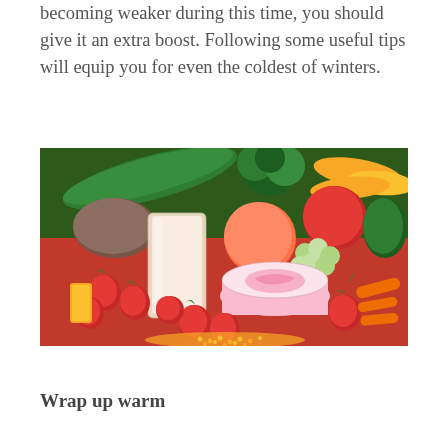becoming weaker during this time, you should give it an extra boost. Following some useful tips will equip you for even the coldest of winters.
[Figure (photo): A colorful arrangement of fresh fruits and vegetables including strawberries, tomatoes, grapes, bananas, broccoli, carrots, and other produce, with a tall glass of milk and a bowl of pink yogurt in the foreground.]
Wrap up warm